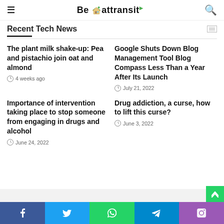Be attransit
Recent Tech News
The plant milk shake-up: Pea and pistachio join oat and almond
Google Shuts Down Blog Management Tool Blog Compass Less Than a Year After Its Launch
Importance of intervention taking place to stop someone from engaging in drugs and alcohol
Drug addiction, a curse, how to lift this curse?